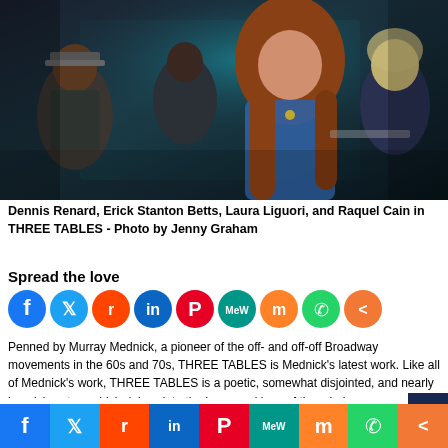[Figure (photo): Theater production photo showing four actors: Dennis Renard, Erick Stanton Betts, Laura Liguori, and Raquel Cain on stage in THREE TABLES. A woman with long auburn hair wearing a blue top is prominent in the center foreground.]
Dennis Renard, Erick Stanton Betts, Laura Liguori, and Raquel Cain in THREE TABLES - Photo by Jenny Graham
Spread the love
[Figure (infographic): Row of nine social media share icons: Facebook (blue), Twitter (light blue), Reddit (orange-red), LinkedIn (dark blue), Pinterest (red), MeWe (teal), Mix (orange), WhatsApp (green), Share (orange)]
Penned by Murray Mednick, a pioneer of the off- and off-off Broadway movements in the 60s and 70s, THREE TABLES is Mednick’s latest work. Like all of Mednick’s work, THREE TABLES is a poetic, somewhat disjointed, and nearly impulsive story which delves into the inner workings of the minds of
[Figure (infographic): Bottom social media share bar with nine icons: Facebook, Twitter, Reddit, LinkedIn, Pinterest, MeWe, Mix, WhatsApp, Share]